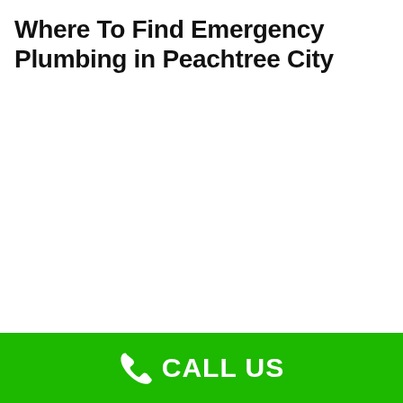Where To Find Emergency Plumbing in Peachtree City
CALL US